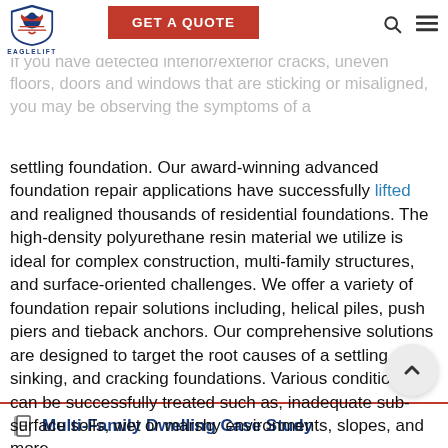EAGLELIFT — GET A QUOTE
If you have detected interior/exterior cracks, uneven floors, doors and windows that are sticking or misaligned, you may be observing the symptoms of a settling foundation. Our award-winning advanced foundation repair applications have successfully lifted and realigned thousands of residential foundations. The high-density polyurethane resin material we utilize is ideal for complex construction, multi-family structures, and surface-oriented challenges. We offer a variety of foundation repair solutions including, helical piles, push piers and tieback anchors. Our comprehensive solutions are designed to target the root causes of a settling, sinking, and cracking foundations. Various conditions can be successfully treated such as, inadequate sub-surface soils, wet or marshy environments, slopes, and more.
Multi-Family Dwelling Case Study